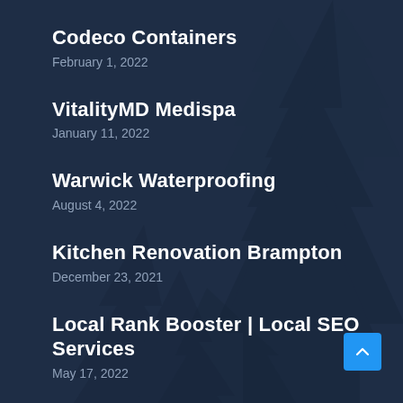Codeco Containers
February 1, 2022
VitalityMD Medispa
January 11, 2022
Warwick Waterproofing
August 4, 2022
Kitchen Renovation Brampton
December 23, 2021
Local Rank Booster | Local SEO Services
May 17, 2022
[Figure (illustration): Dark navy blue background with silhouettes of pine/fir trees in darker blue tones, creating a forest scene.]